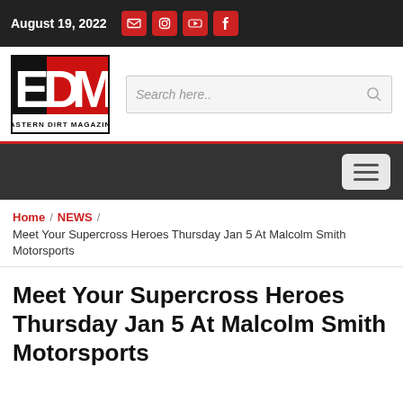August 19, 2022
[Figure (logo): Eastern Dirt Magazine (EDM) logo — red and black block letters EDM with 'EASTERN DIRT MAGAZINE' text below]
Search here..
Hamburger menu icon
Home / NEWS / Meet Your Supercross Heroes Thursday Jan 5 At Malcolm Smith Motorsports
Meet Your Supercross Heroes Thursday Jan 5 At Malcolm Smith Motorsports